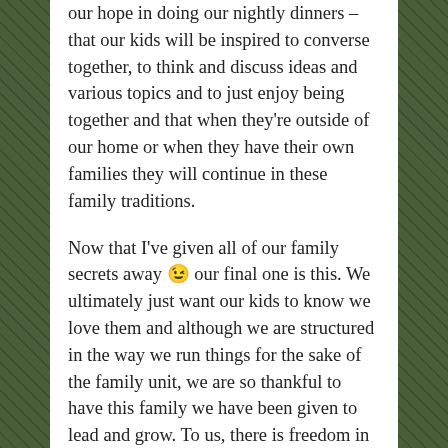our hope in doing our nightly dinners – that our kids will be inspired to converse together, to think and discuss ideas and various topics and to just enjoy being together and that when they're outside of our home or when they have their own families they will continue in these family traditions.
Now that I've given all of our family secrets away 😉 our final one is this. We ultimately just want our kids to know we love them and although we are structured in the way we run things for the sake of the family unit, we are so thankful to have this family we have been given to lead and grow. To us, there is freedom in structure. Which feels like how our heavenly Father leads and grows us as well. We are free in Him and the